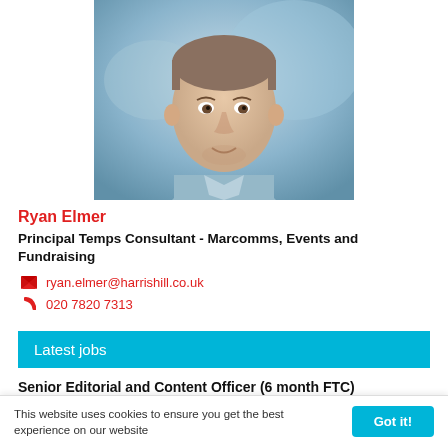[Figure (photo): Headshot photo of Ryan Elmer, a man in a light blue shirt against a blurred blue background]
Ryan Elmer
Principal Temps Consultant - Marcomms, Events and Fundraising
ryan.elmer@harrishill.co.uk
020 7820 7313
Latest jobs
Senior Editorial and Content Officer (6 month FTC)
This website uses cookies to ensure you get the best experience on our website